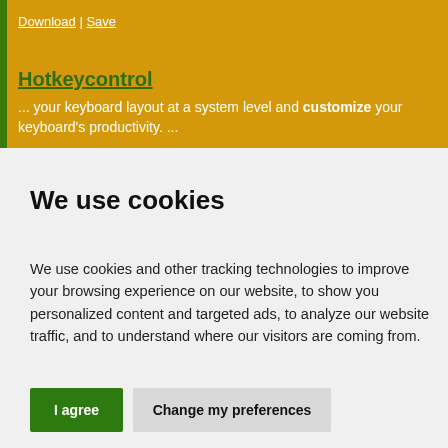Download | Save
Hotkeycontrol
... your keyboard layout at a system level and customize your keyboard's productivity. ...
We use cookies
We use cookies and other tracking technologies to improve your browsing experience on our website, to show you personalized content and targeted ads, to analyze our website traffic, and to understand where our visitors are coming from.
I agree
Change my preferences